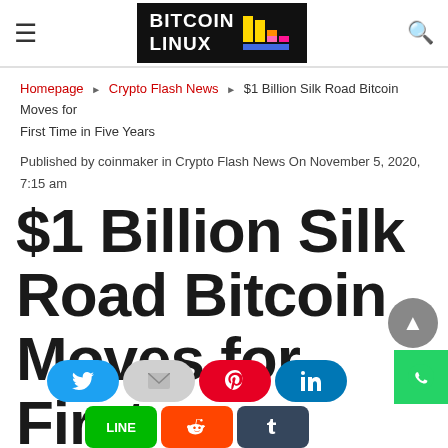Bitcoin Linux — site header with logo, hamburger menu, and search icon
Homepage ▶ Crypto Flash News ▶ $1 Billion Silk Road Bitcoin Moves for First Time in Five Years
Published by coinmaker in Crypto Flash News On November 5, 2020, 7:15 am
$1 Billion Silk Road Bitcoin Moves for First Time in Five Years
[Figure (other): Social sharing buttons: Twitter, Email, Pinterest, LinkedIn, WhatsApp (floating), LINE, Reddit, Tumblr]